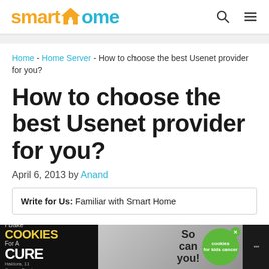smarthome
Home - Home Server - How to choose the best Usenet provider for you?
How to choose the best Usenet provider for you?
April 6, 2013 by Anand
Write for Us: Familiar with Smart Home
[Figure (other): Ad banner: I Bake COOKIES For A CURE / So can you! cookies for kids cancer]